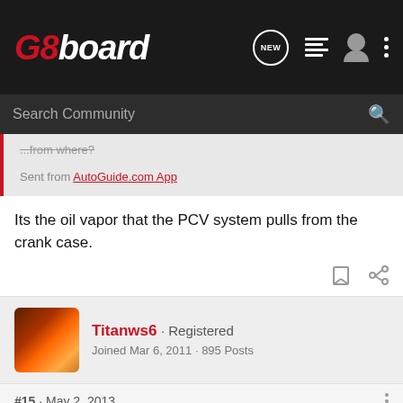G8board
Search Community
...from where?
Sent from AutoGuide.com App
Its the oil vapor that the PCV system pulls from the crank case.
Titanws6 · Registered
Joined Mar 6, 2011 · 895 Posts
#15 · May 2, 2013
Catch cans are a great addition for the LS motor, im on my